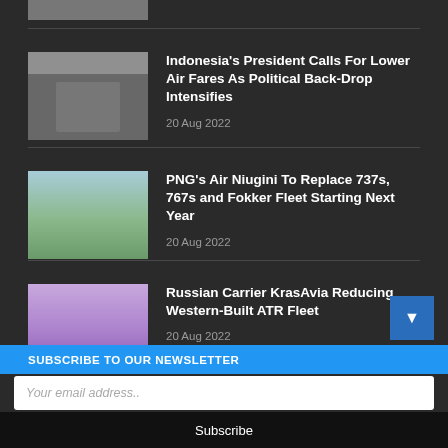[Figure (photo): Partial thumbnail of news article at top]
Indonesia’s President Calls For Lower Air Fares As Political Back-Drop Intensifies
20 Aug 2022
[Figure (photo): Airplane on tarmac at an airport]
PNG’s Air Niugini To Replace 737s, 767s and Fokker Fleet Starting Next Year
20 Aug 2022
[Figure (photo): Purple/magenta airline carrier with people in foreground]
Russian Carrier KrasAvia Reducing Western-Built ATR Fleet
20 Aug 2022
SUBSCRIBE TO OUR NEWSLETTER
Your email address..
Subscribe